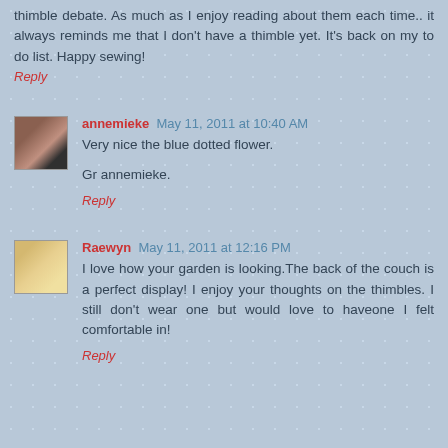thimble debate. As much as I enjoy reading about them each time.. it always reminds me that I don't have a thimble yet. It's back on my to do list. Happy sewing!
Reply
annemieke  May 11, 2011 at 10:40 AM
Very nice the blue dotted flower.
Gr annemieke.
Reply
Raewyn  May 11, 2011 at 12:16 PM
I love how your garden is looking.The back of the couch is a perfect display! I enjoy your thoughts on the thimbles. I still don't wear one but would love to haveone I felt comfortable in!
Reply